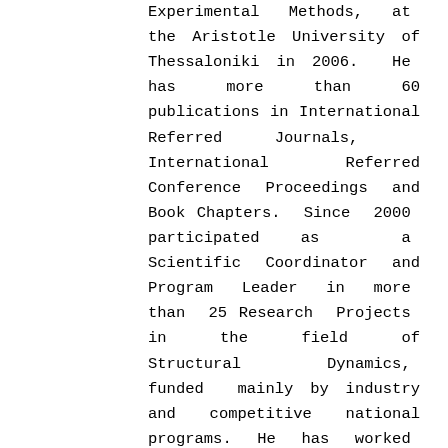Experimental Methods, at the Aristotle University of Thessaloniki in 2006. He has more than 60 publications in International Referred Journals, International Referred Conference Proceedings and Book Chapters. Since 2000 participated as a Scientific Coordinator and Program Leader in more than 25 Research Projects in the field of Structural Dynamics, funded mainly by industry and competitive national programs. He has worked as a postdoctoral researcher in the Department of Mechanical Engineering of the Aristotle University of Thessaloniki. and as a visiting professor in the Department